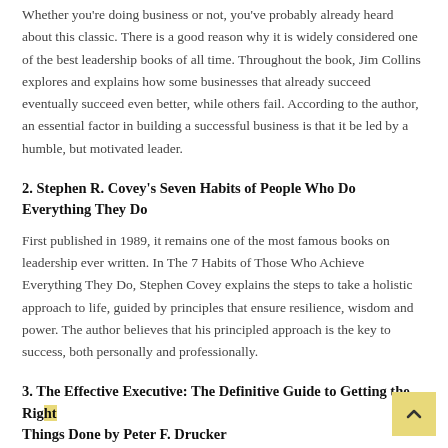Whether you're doing business or not, you've probably already heard about this classic. There is a good reason why it is widely considered one of the best leadership books of all time. Throughout the book, Jim Collins explores and explains how some businesses that already succeed eventually succeed even better, while others fail. According to the author, an essential factor in building a successful business is that it be led by a humble, but motivated leader.
2. Stephen R. Covey's Seven Habits of People Who Do Everything They Do
First published in 1989, it remains one of the most famous books on leadership ever written. In The 7 Habits of Those Who Achieve Everything They Do, Stephen Covey explains the steps to take a holistic approach to life, guided by principles that ensure resilience, wisdom and power. The author believes that his principled approach is the key to success, both personally and professionally.
3. The Effective Executive: The Definitive Guide to Getting the Right Things Done by Peter F. Drucker